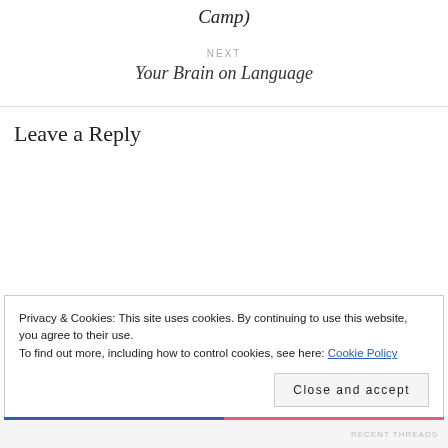Camp)
NEXT
Your Brain on Language
Leave a Reply
Privacy & Cookies: This site uses cookies. By continuing to use this website, you agree to their use.
To find out more, including how to control cookies, see here: Cookie Policy
Close and accept